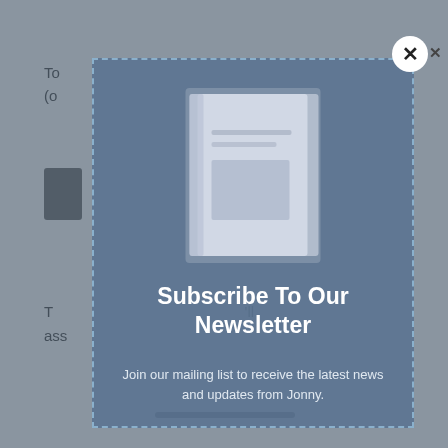To
(o
T
ass
[Figure (screenshot): Newsletter subscription modal popup overlay on a webpage. The modal has a blue-grey background with a dashed border, shows a blurred book image in the upper portion, bold white text reading 'Subscribe To Our Newsletter', and subtitle text 'Join our mailing list to receive the latest news and updates from Jonny.' A white circular close button with an X is in the upper right corner.]
Subscribe To Our Newsletter
Join our mailing list to receive the latest news and updates from Jonny.